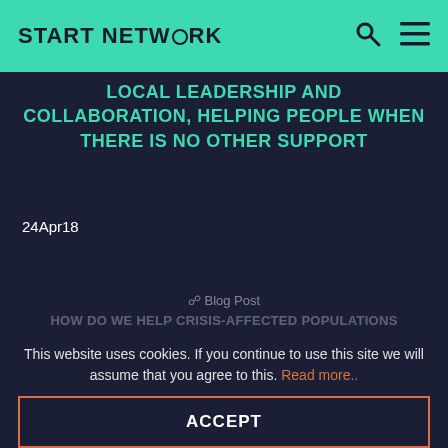START NETWORK
LOCAL LEADERSHIP AND COLLABORATION, HELPING PEOPLE WHEN THERE IS NO OTHER SUPPORT
24Apr18
Blog Post
HOW DO WE HELP CRISIS-AFFECTED POPULATIONS BECOME 'SUSTAINABLY RESILIENT'? CASH...
This website uses cookies. If you continue to use this site we will assume that you agree to this. Read more..
ACCEPT